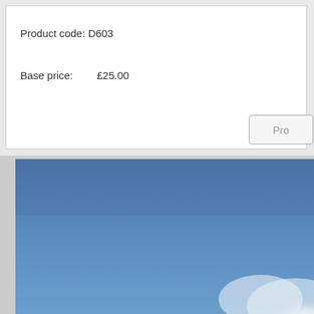Product code: D603
Base price:    £25.00
Pro
[Figure (photo): Blue sky photograph with blurred white clouds or object in lower right portion, cropped view]